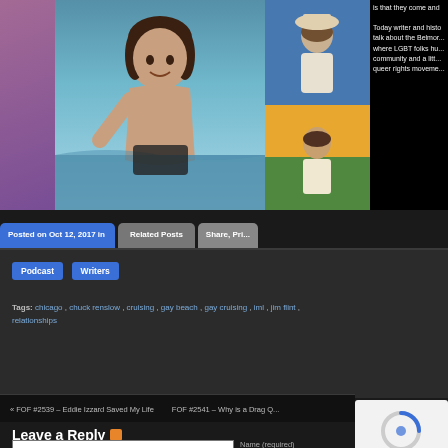[Figure (photo): Collage of photos: woman at event on left with purple tint, shirtless man in water in center, two vintage rainbow-tinted photos of men on right]
is that they come and

Today writer and histo... talk about the Belmo... where LGBT folks hu... community and a litt... queer rights moveme...
Posted on Oct 12, 2017 in
Related Posts
Share, Pri...
Podcast
Writers
Tags: chicago , chuck renslow , cruising , gay beach , gay cruising , iml , jim flint , relationships
« FOF #2539 – Eddie Izzard Saved My Life
FOF #2541 – Why is a Drag Q...
Leave a Reply
Name (required)